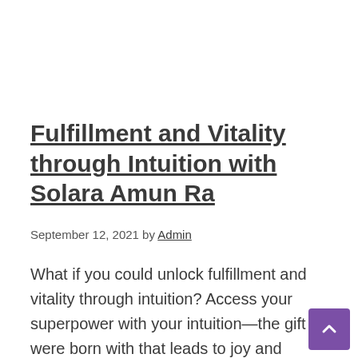Fulfillment and Vitality through Intuition with Solara Amun Ra
September 12, 2021 by Admin
What if you could unlock fulfillment and vitality through intuition? Access your superpower with your intuition—the gift you were born with that leads to joy and fulfillment. Solara Amun Ra and I discuss how listening to your intuition by